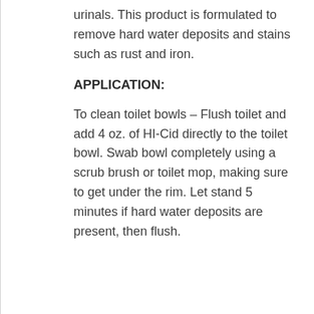urinals. This product is formulated to remove hard water deposits and stains such as rust and iron.
APPLICATION:
To clean toilet bowls – Flush toilet and add 4 oz. of HI-Cid directly to the toilet bowl. Swab bowl completely using a scrub brush or toilet mop, making sure to get under the rim. Let stand 5 minutes if hard water deposits are present, then flush.